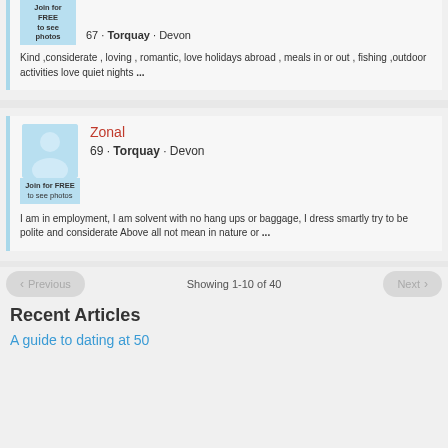67 · Torquay · Devon
Join for FREE to see photos
Kind ,considerate , loving , romantic, love holidays abroad , meals in or out , fishing ,outdoor activities love quiet nights ...
Zonal
69 · Torquay · Devon
Join for FREE to see photos
I am in employment, I am solvent with no hang ups or baggage, I dress smartly try to be polite and considerate Above all not mean in nature or ...
Previous   Showing 1-10 of 40   Next
Recent Articles
A guide to dating at 50